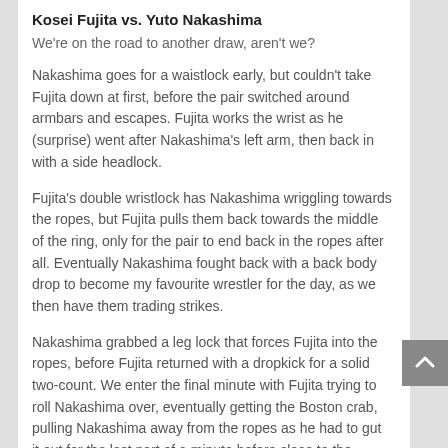Kosei Fujita vs. Yuto Nakashima
We're on the road to another draw, aren't we?
Nakashima goes for a waistlock early, but couldn't take Fujita down at first, before the pair switched around armbars and escapes. Fujita works the wrist as he (surprise) went after Nakashima's left arm, then back in with a side headlock.
Fujita's double wristlock has Nakashima wriggling towards the ropes, but Fujita pulls them back towards the middle of the ring, only for the pair to end back in the ropes after all. Eventually Nakashima fought back with a back body drop to become my favourite wrestler for the day, as we then have them trading strikes.
Nakashima grabbed a leg lock that forces Fujita into the ropes, before Fujita returned with a dropkick for a solid two-count. We enter the final minute with Fujita trying to roll Nakashima over, eventually getting the Boston crab, pulling Nakashima away from the ropes as he had to gut it out for the last part of a minute before close to the